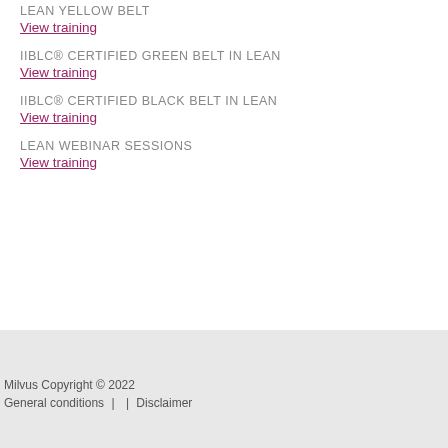LEAN YELLOW BELT
View training
IIBLC® CERTIFIED GREEN BELT IN LEAN
View training
IIBLC® CERTIFIED BLACK BELT IN LEAN
View training
LEAN WEBINAR SESSIONS
View training
Milvus Copyright © 2022
General conditions  |  |  Disclaimer